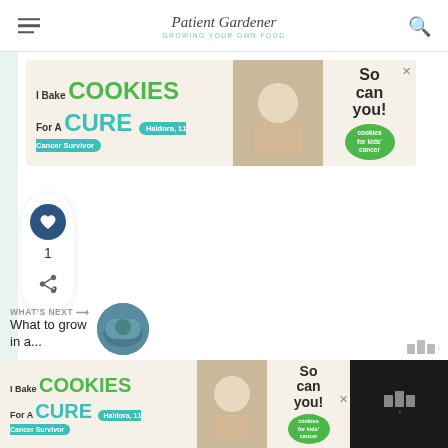Patient Gardener
[Figure (screenshot): Advertisement banner: I Bake COOKIES For A CURE - Haldora, 11 Cancer Survivor - So can you! cookies for kids cancer]
[Figure (infographic): Social sharing sidebar with heart/like button showing count 1, and share icon]
What to grow in a...
[Figure (photo): Thumbnail circular image showing plants/greenhouse]
[Figure (screenshot): Bottom advertisement banner: I Bake COOKIES For A CURE - Haldora, 11 Cancer Survivor - So can you! cookies for kids cancer]
WHAT'S NEXT → What to grow in a...